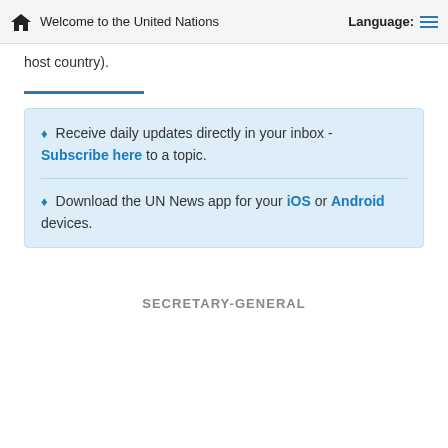Welcome to the United Nations | Language:
host country).
♦ Receive daily updates directly in your inbox - Subscribe here to a topic.
♦ Download the UN News app for your iOS or Android devices.
SECRETARY-GENERAL